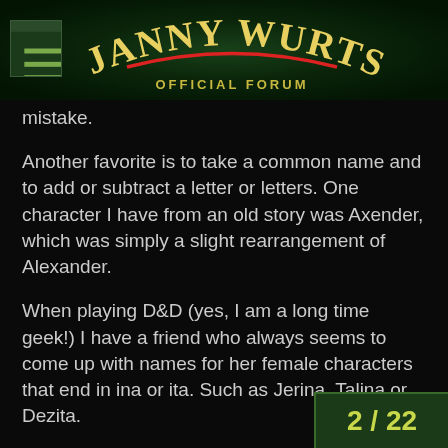JANNY WURTS OFFICIAL FORUM
mistake.
Another favorite is to take a common name and to add or subtract a letter or letters. One character I have from an old story was Axender, which was simply a slight rearrangement of Alexander.
When playing D&D (yes, I am a long time geek!) I have a friend who always seems to come up with names for her female characters that end in ina or ita. Such as Jerina, Talina or Dezita.
What can be funny, if you find a satisfactory way to make up names yourself, is if you run into anyone who is actually named that in real life. I was VERY surp[rised] when I went into the bank one day, and d[iscovered]
2 / 22